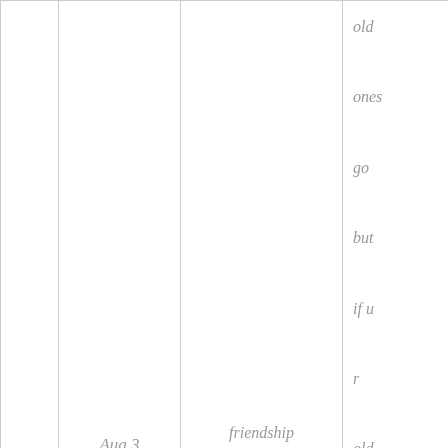|  | Aug 3 | friendship month | old ones go but if u r old let the new one also glow. |